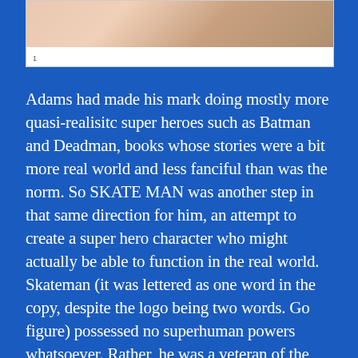[Figure (illustration): Partial view of a comic book page showing illustrated figures, cropped at the top of the document page. A small footnote number '1' appears at the bottom left of the white image frame.]
Adams had made his mark doing mostly more quasi-realisitc super heroes such as Batman and Deadman, books whose stories were a bit more real world and less fanciful than was the norm. So SKATE MAN was another step in that same direction for him, an attempt to create a super hero character who might actually be able to function in the real world. Skateman (it was lettered as one word in the copy, despite the logo being two words. Go figure) possessed no superhuman powers whatsoever. Rather, he was a veteran of the military and an accomplished martial artist who had gone on to have a career on the roller derby circuit. Not exactly the